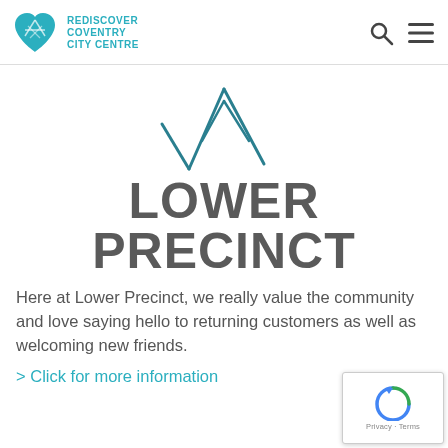REDISCOVER COVENTRY CITY CENTRE
[Figure (logo): Lower Precinct geometric diamond/arrow logo in teal, above large grey text 'LOWER PRECINCT']
LOWER PRECINCT
Here at Lower Precinct, we really value the community and love saying hello to returning customers as well as welcoming new friends.
> Click for more information